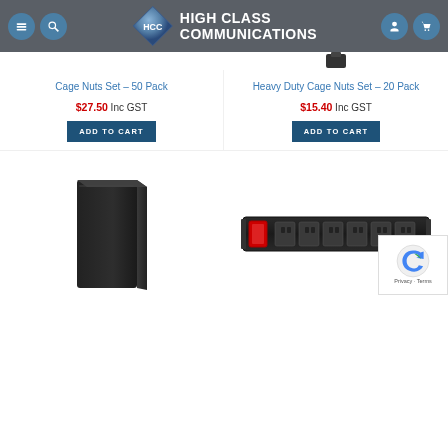[Figure (screenshot): High Class Communications website header with logo, hamburger menu icon, search icon, user icon, and cart icon on dark grey background]
Cage Nuts Set – 50 Pack
$27.50 Inc GST
ADD TO CART
Heavy Duty Cage Nuts Set – 20 Pack
$15.40 Inc GST
ADD TO CART
[Figure (photo): Black slim rectangular panel/enclosure product image]
[Figure (photo): Black rack-mounted power distribution unit (PDU) with multiple outlets and red power switch]